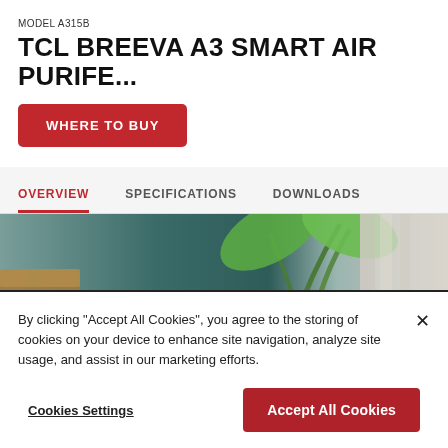MODEL A315B
TCL BREEVA A3 SMART AIR PURIFE...
WHERE TO BUY
OVERVIEW    SPECIFICATIONS    DOWNLOADS
[Figure (photo): Interior scene with large tropical green plant, teal/dark green wall, leather couch visible on left, white curtains on right]
By clicking "Accept All Cookies", you agree to the storing of cookies on your device to enhance site navigation, analyze site usage, and assist in our marketing efforts.
Cookies Settings
Accept All Cookies